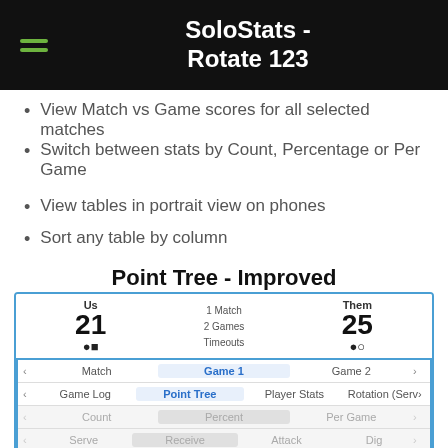SoloStats - Rotate 123
View Match vs Game scores for all selected matches
Switch between stats by Count, Percentage or Per Game
View tables in portrait view on phones
Sort any table by column
Point Tree - Improved
[Figure (screenshot): App screenshot showing SoloStats volleyball tracking app with score header (Us 21, Them 25, 1 Match, 2 Games, Timeouts) and navigation options including Match/Game1/Game2 tabs, Game Log/Point Tree/Player Stats/Rotation tabs, Count/Percent/Per Game toggle, Serve/Receive/Attack/Dig toggle, and Hide Options row. Bottom shows US | ACTIONS | THEM column headers.]